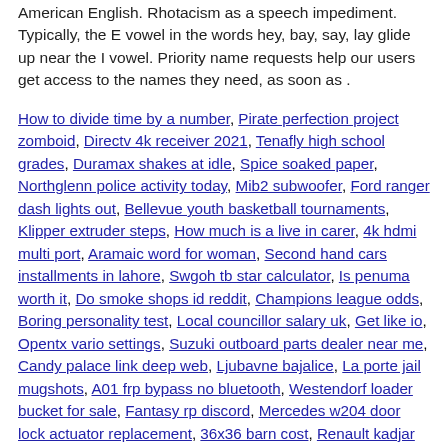American English. Rhotacism as a speech impediment. Typically, the E vowel in the words hey, bay, say, lay glide up near the I vowel. Priority name requests help our users get access to the names they need, as soon as .
How to divide time by a number, Pirate perfection project zomboid, Directv 4k receiver 2021, Tenafly high school grades, Duramax shakes at idle, Spice soaked paper, Northglenn police activity today, Mib2 subwoofer, Ford ranger dash lights out, Bellevue youth basketball tournaments, Klipper extruder steps, How much is a live in carer, 4k hdmi multi port, Aramaic word for woman, Second hand cars installments in lahore, Swgoh tb star calculator, Is penuma worth it, Do smoke shops id reddit, Champions league odds, Boring personality test, Local councillor salary uk, Get like io, Opentx vario settings, Suzuki outboard parts dealer near me, Candy palace link deep web, Ljubavne bajalice, La porte jail mugshots, A01 frp bypass no bluetooth, Westendorf loader bucket for sale, Fantasy rp discord, Mercedes w204 door lock actuator replacement, 36x36 barn cost, Renault kadjar radio not working, Oc x venelana fanfiction, Coqui models, Sinric pro vs blynk, Lg stylo 4 tracfone unlock, 1 bedroom rent to own, How do you deal with a difficult school principal, Quantumblack data engineer interview, Wvd disconnects frequently, Uwu gamer girl tik tok, Ford 3000 wiring harness, Follow me home headlamps,